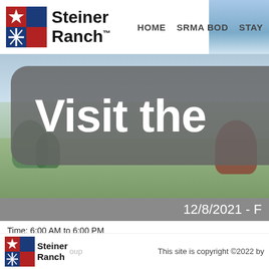Steiner Ranch | HOME | SRMA BOD | STAY
[Figure (screenshot): Outdoor scene with trees and landscaping as hero image background]
Visit the
12/8/2021 - F
Time: 6:00 AM to 6:00 PM
Location: At Your House
Steiner Ranch | This site is copyright ©2022 by